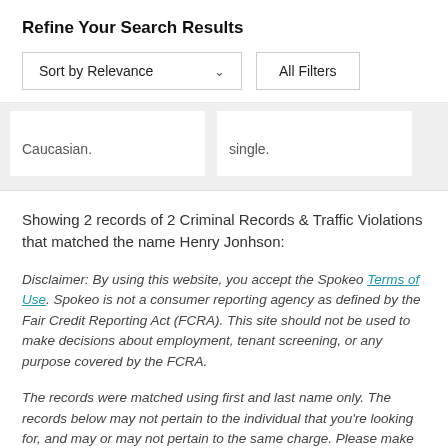Refine Your Search Results
Sort by Relevance   All Filters
Caucasian.
single.
Showing 2 records of 2 Criminal Records & Traffic Violations that matched the name Henry Jonhson:
Disclaimer: By using this website, you accept the Spokeo Terms of Use. Spokeo is not a consumer reporting agency as defined by the Fair Credit Reporting Act (FCRA). This site should not be used to make decisions about employment, tenant screening, or any purpose covered by the FCRA.
The records were matched using first and last name only. The records below may not pertain to the individual that you're looking for, and may or may not pertain to the same charge. Please make your own determination of the relevance of these court records.